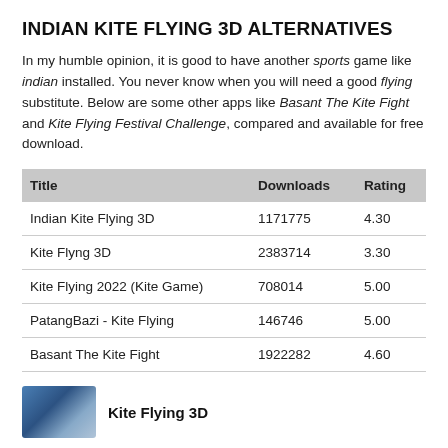INDIAN KITE FLYING 3D ALTERNATIVES
In my humble opinion, it is good to have another sports game like indian installed. You never know when you will need a good flying substitute. Below are some other apps like Basant The Kite Fight and Kite Flying Festival Challenge, compared and available for free download.
| Title | Downloads | Rating |
| --- | --- | --- |
| Indian Kite Flying 3D | 1171775 | 4.30 |
| Kite Flyng 3D | 2383714 | 3.30 |
| Kite Flying 2022 (Kite Game) | 708014 | 5.00 |
| PatangBazi - Kite Flying | 146746 | 5.00 |
| Basant The Kite Fight | 1922282 | 4.60 |
[Figure (photo): Thumbnail image of Kite Flying 3D app]
Kite Flying 3D